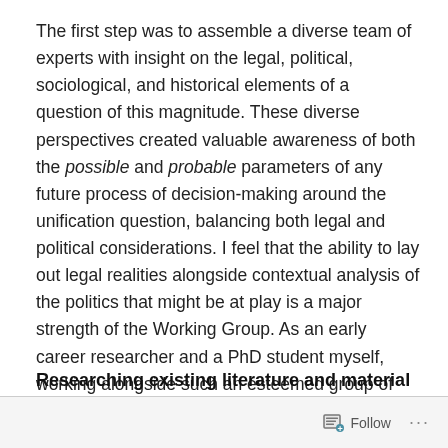The first step was to assemble a diverse team of experts with insight on the legal, political, sociological, and historical elements of a question of this magnitude. These diverse perspectives created valuable awareness of both the possible and probable parameters of any future process of decision-making around the unification question, balancing both legal and political considerations. I feel that the ability to lay out legal realities alongside contextual analysis of the politics that might be at play is a major strength of the Working Group. As an early career researcher and a PhD student myself, working alongside such an esteemed group of academics has been an invaluable professional experience.
Researching existing literature and material
Follow ...